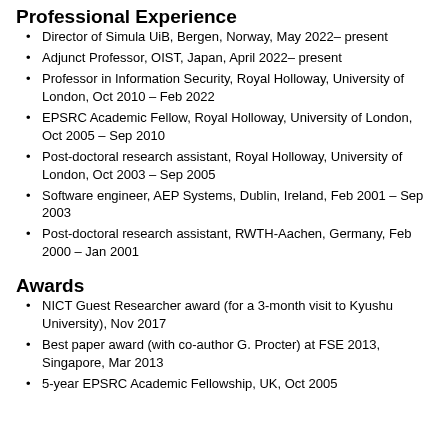Professional Experience
Director of Simula UiB, Bergen, Norway, May 2022– present
Adjunct Professor, OIST, Japan, April 2022– present
Professor in Information Security, Royal Holloway, University of London, Oct 2010 – Feb 2022
EPSRC Academic Fellow, Royal Holloway, University of London, Oct 2005 – Sep 2010
Post-doctoral research assistant, Royal Holloway, University of London, Oct 2003 – Sep 2005
Software engineer, AEP Systems, Dublin, Ireland, Feb 2001 – Sep 2003
Post-doctoral research assistant, RWTH-Aachen, Germany, Feb 2000 – Jan 2001
Awards
NICT Guest Researcher award (for a 3-month visit to Kyushu University), Nov 2017
Best paper award (with co-author G. Procter) at FSE 2013, Singapore, Mar 2013
5-year EPSRC Academic Fellowship, UK, Oct 2005